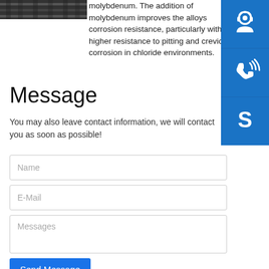[Figure (photo): Partial image of stainless steel equipment or pipes, cropped at top-left]
molybdenum. The addition of molybdenum improves the alloys corrosion resistance, particularly with higher resistance to pitting and crevice corrosion in chloride environments.
[Figure (infographic): Three blue square buttons with white icons: customer support/headset, phone with signal waves, Skype logo]
Message
You may also leave contact information, we will contact you as soon as possible!
Name
E-Mail
Messages
Send Message